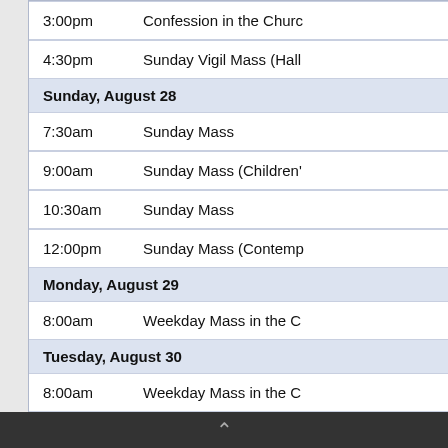| Time | Event |
| --- | --- |
| 3:00pm | Confession in the Churc |
| 4:30pm | Sunday Vigil Mass (Hall |
Sunday, August 28
| Time | Event |
| --- | --- |
| 7:30am | Sunday Mass |
| 9:00am | Sunday Mass (Children' |
| 10:30am | Sunday Mass |
| 12:00pm | Sunday Mass (Contemp |
Monday, August 29
| Time | Event |
| --- | --- |
| 8:00am | Weekday Mass in the C |
Tuesday, August 30
| Time | Event |
| --- | --- |
| 8:00am | Weekday Mass in the C |
| 6:30pm | Tuesday Night Prayer G |
Wednesday, August 31
| Time | Event |
| --- | --- |
| 7:00pm | Daily Mass (Church) |
Thursday, September 1
+ Google Calendar